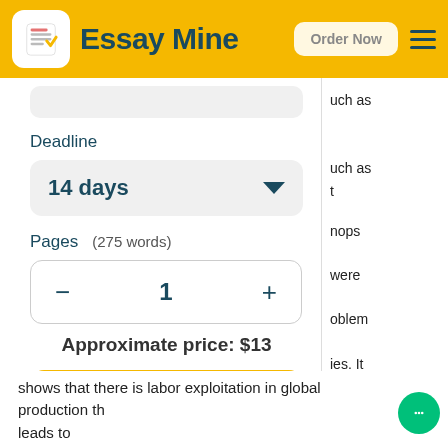Essay Mine  Order Now
Deadline
14 days
Pages  (275 words)
- 1 +
Approximate price: $13
Continue to order
uch as
uch as
t
nops
were
oblem
ies. It
shows that there is labor exploitation in global production th leads to